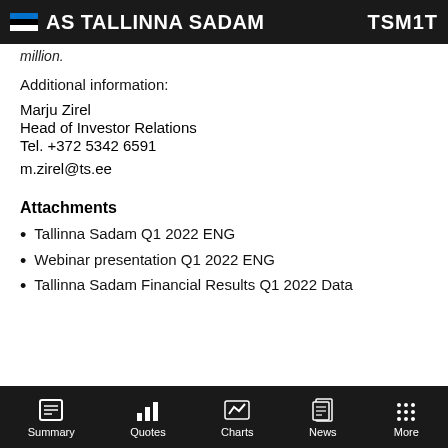AS TALLINNA SADAM  TSM1T
million.
Additional information:
Marju Zirel
Head of Investor Relations
Tel. +372 5342 6591
m.zirel@ts.ee
Attachments
Tallinna Sadam Q1 2022 ENG
Webinar presentation Q1 2022 ENG
Tallinna Sadam Financial Results Q1 2022 Data
Summary  Quotes  Charts  News  More